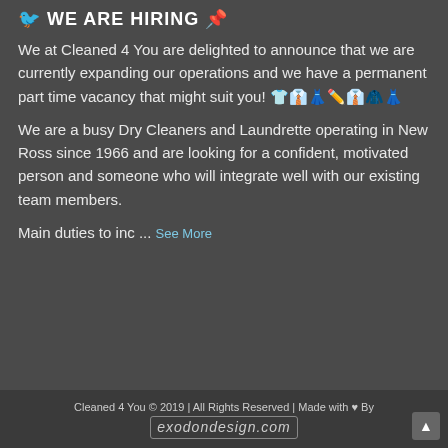WE ARE HIRING
We at Cleaned 4 You are delighted to announce that we are currently expanding our operations and we have a permanent part time vacancy that might suit you! 👕👔👗🩱👔🧥👗
We are a busy Dry Cleaners and Laundrette operating in New Ross since 1966 and are looking for a confident, motivated person and someone who will integrate well with our existing team members.
Main duties to inc ... See More
Cleaned 4 You © 2019 | All Rights Reserved | Made with ♥ By exodondesign.com